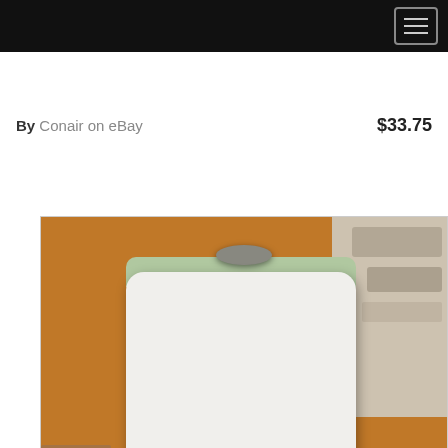By Conair on eBay  $33.75
[Figure (photo): Photo of a white Conair ThermalSpa humidifier with a metallic handle on top and green top panel, placed on a wooden surface against a cardboard background. Shelving with various items visible in background on the right.]